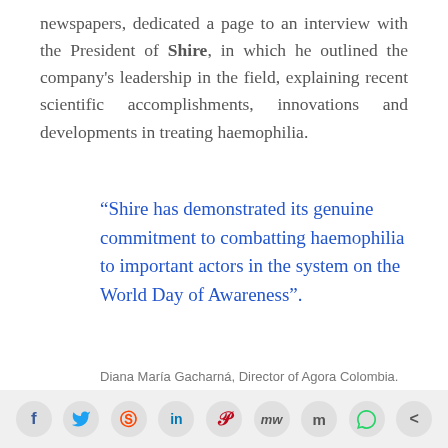newspapers, dedicated a page to an interview with the President of Shire, in which he outlined the company's leadership in the field, explaining recent scientific accomplishments, innovations and developments in treating haemophilia.
“Shire has demonstrated its genuine commitment to combatting haemophilia to important actors in the system on the World Day of Awareness”.
Diana María Gacharná, Director of Agora Colombia.
[Figure (other): Social media sharing icons bar: Facebook, Twitter, Reddit, LinkedIn, Pinterest, MeWe, Mix, WhatsApp, Share]